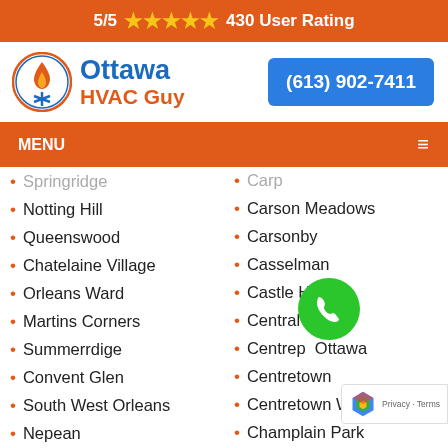5/5 ★★★★★ 430 User Rating
[Figure (logo): Ottawa HVAC Guy logo with flame and snowflake icon in orange circle]
(613) 902-7411
MENU
Springridge
Notting Hill
Queenswood
Chatelaine Village
Orleans Ward
Martins Corners
Summerrdige
Convent Glen
South West Orleans
Nepean
Arbeatha Park
Carp
Carson Meadows
Carsonby
Casselman
Castle Heights
Central Park
Centrepointe Ottawa
Centretown
Centretown West
Champlain Park
Chinatown Ottawa